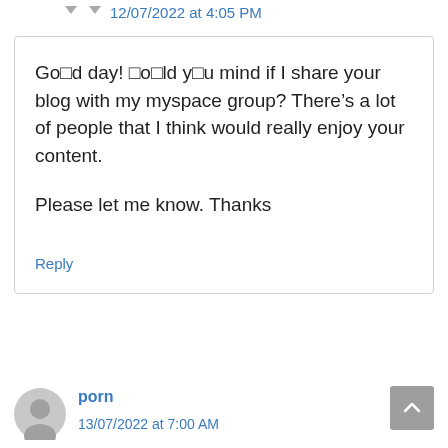12/07/2022 at 4:05 PM
Go□d day! □o□ld y□u mind if I share your blog with my myspace group? There’s a lot of people that I think would really enjoy your content.

Please let me know. Thanks
Reply
porn
13/07/2022 at 7:00 AM